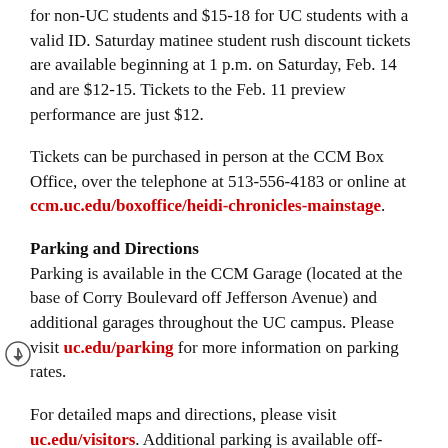for non-UC students and $15-18 for UC students with a valid ID. Saturday matinee student rush discount tickets are available beginning at 1 p.m. on Saturday, Feb. 14 and are $12-15. Tickets to the Feb. 11 preview performance are just $12.
Tickets can be purchased in person at the CCM Box Office, over the telephone at 513-556-4183 or online at ccm.uc.edu/boxoffice/heidi-chronicles-mainstage.
Parking and Directions
Parking is available in the CCM Garage (located at the base of Corry Boulevard off Jefferson Avenue) and additional garages throughout the UC campus. Please visit uc.edu/parking for more information on parking rates.
For detailed maps and directions, please visit uc.edu/visitors. Additional parking is available off-campus at the new U Square complex on Calhoun Street and other neighboring lots.
For directions to CCM Village